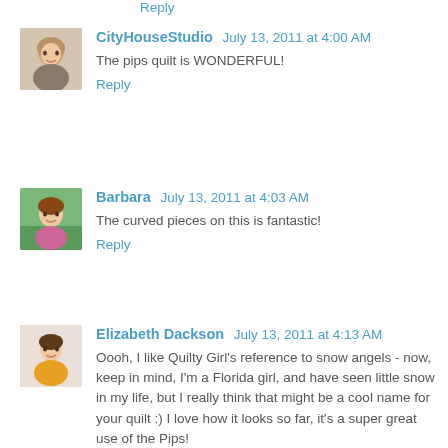Reply
CityHouseStudio  July 13, 2011 at 4:00 AM
The pips quilt is WONDERFUL!
Reply
Barbara  July 13, 2011 at 4:03 AM
The curved pieces on this is fantastic!
Reply
Elizabeth Dackson  July 13, 2011 at 4:13 AM
Oooh, I like Quilty Girl's reference to snow angels - now, keep in mind, I'm a Florida girl, and have seen little snow in my life, but I really think that might be a cool name for your quilt :) I love how it looks so far, it's a super great use of the Pips!
Reply